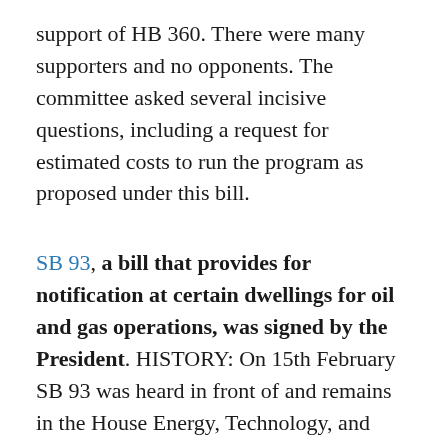support of HB 360. There were many supporters and no opponents. The committee asked several incisive questions, including a request for estimated costs to run the program as proposed under this bill.
SB 93, a bill that provides for notification at certain dwellings for oil and gas operations, was signed by the President. HISTORY: On 15th February SB 93 was heard in front of and remains in the House Energy, Technology, and Federal Relations Committee. There is no rush for the committee to act on this bill, since it